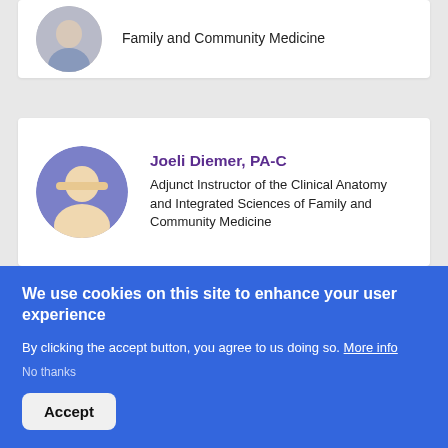[Figure (photo): Circular profile photo of a person, partially visible at top of page]
Family and Community Medicine
[Figure (photo): Circular profile photo of Joeli Diemer, a woman with blonde hair, against a blue background]
Joeli Diemer, PA-C
Adjunct Instructor of the Clinical Anatomy and Integrated Sciences of Family and Community Medicine
[Figure (photo): Circular profile photo of Ahmad El Kouzi, partially visible]
Ahmad El Kouzi, MD
We use cookies on this site to enhance your user experience
By clicking the accept button, you agree to us doing so. More info
No thanks